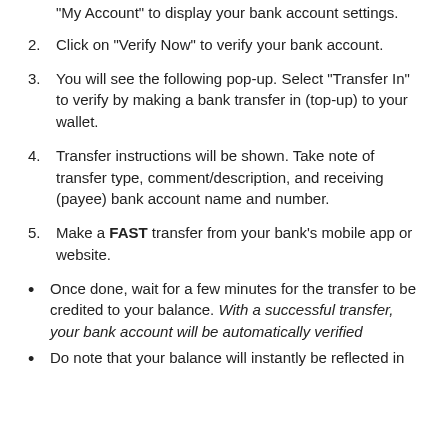"My Account" to display your bank account settings.
Click on "Verify Now" to verify your bank account.
You will see the following pop-up. Select "Transfer In" to verify by making a bank transfer in (top-up) to your wallet.
Transfer instructions will be shown. Take note of transfer type, comment/description, and receiving (payee) bank account name and number.
Make a FAST transfer from your bank's mobile app or website.
Once done, wait for a few minutes for the transfer to be credited to your balance. With a successful transfer, your bank account will be automatically verified
Do note that your balance will instantly be reflected in